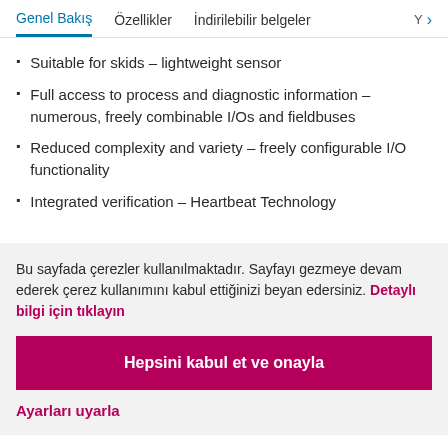Genel Bakış   Özellikler   İndirilebilir belgeler   Y >
Suitable for skids – lightweight sensor
Full access to process and diagnostic information – numerous, freely combinable I/Os and fieldbuses
Reduced complexity and variety – freely configurable I/O functionality
Integrated verification – Heartbeat Technology
Bu sayfada çerezler kullanılmaktadır. Sayfayı gezmeye devam ederek çerez kullanımını kabul ettiğinizi beyan edersiniz. Detaylı bilgi için tıklayın
Hepsini kabul et ve onayla
Ayarları uyarla